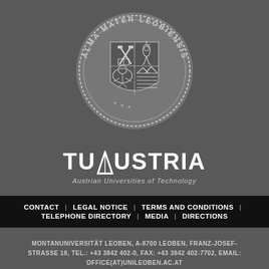[Figure (logo): Circular university seal of Montanuniversität Leoben (Alma Mater Leobiensis) showing a shield with mining hammers, book, bird, lion, and mountains, surrounded by a dotted border and Latin text]
[Figure (logo): TU Austria logo with bold white text 'TUAUSTRIA' and subtitle 'Austrian Universities of Technology']
CONTACT | LEGAL NOTICE | TERMS AND CONDITIONS | TELEPHONE DIRECTORY | MEDIA | DIRECTIONS
MONTANUNIVERSITÄT LEOBEN, A-8700 LEOBEN, FRANZ-JOSEF-STRASSE 18, TEL.: +43 3842 402-0, FAX: +43 3842 402-7702, EMAIL: OFFICE(AT)UNILEOBEN.AC.AT